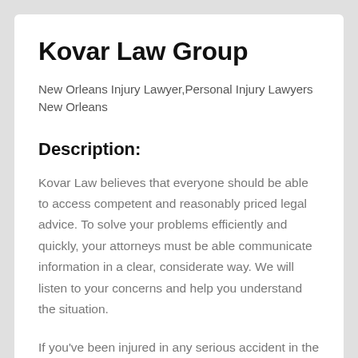Kovar Law Group
New Orleans Injury Lawyer,Personal Injury Lawyers New Orleans
Description:
Kovar Law believes that everyone should be able to access competent and reasonably priced legal advice. To solve your problems efficiently and quickly, your attorneys must be able communicate information in a clear, considerate way. We will listen to your concerns and help you understand the situation.
If you've been injured in any serious accident in the New Orleans, LA area, or anywhere in Louisiana